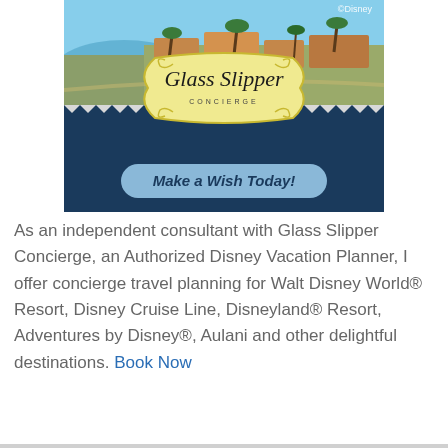[Figure (illustration): Glass Slipper Concierge advertisement banner. Top portion shows an aerial photo of a Disney resort with palm trees and waterways. The center has a yellow ornate badge/logo with 'Glass Slipper CONCIERGE' in script font. The bottom navy blue section contains a light blue rounded button with the text 'Make a Wish Today!' in bold italic. ©Disney watermark in upper right.]
As an independent consultant with Glass Slipper Concierge, an Authorized Disney Vacation Planner, I offer concierge travel planning for Walt Disney World® Resort, Disney Cruise Line, Disneyland® Resort, Adventures by Disney®, Aulani and other delightful destinations. Book Now